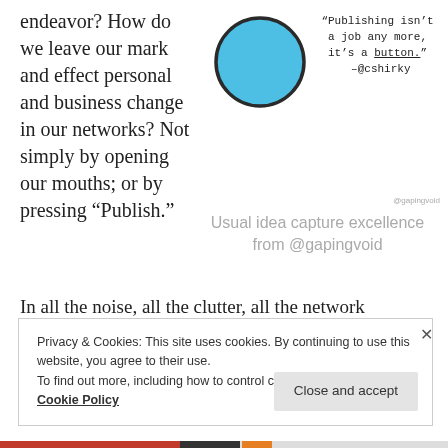endeavor? How do we leave our mark and effect personal and business change in our networks? Not simply by opening our mouths; or by pressing “Publish.”
[Figure (illustration): A filled light blue circle with a dark outline, hand-drawn style]
[Figure (illustration): Handwritten quote: "Publishing isn't a job any more, it's a button." -@cshirky, with 'button' underlined]
@gapingvoid
Usual idea capture excellence from @gapingvoid
In all the noise, all the clutter, all the network
Privacy & Cookies: This site uses cookies. By continuing to use this website, you agree to their use.
To find out more, including how to control cookies, see here:
Cookie Policy